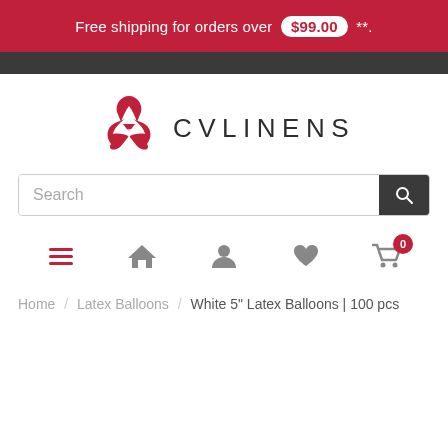Free shipping for orders over $99.00 **.
[Figure (logo): CV Linens logo — red three-petal flower icon with 'CVLINENS' text in dark grey]
Search
[Figure (infographic): Navigation icons: hamburger menu, home, user, heart/wishlist, shopping cart with 0 badge]
Home / Latex Balloons / White 5" Latex Balloons | 100 pcs